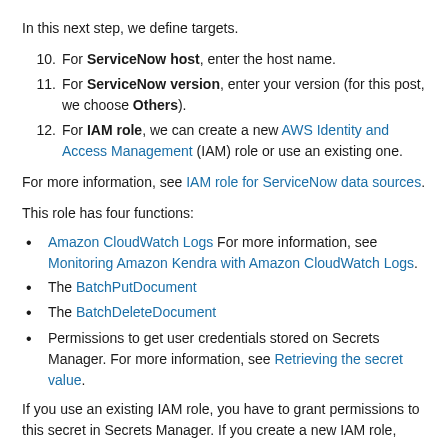In this next step, we define targets.
10. For ServiceNow host, enter the host name.
11. For ServiceNow version, enter your version (for this post, we choose Others).
12. For IAM role, we can create a new AWS Identity and Access Management (IAM) role or use an existing one.
For more information, see IAM role for ServiceNow data sources.
This role has four functions:
Amazon CloudWatch Logs For more information, see Monitoring Amazon Kendra with Amazon CloudWatch Logs.
The BatchPutDocument
The BatchDeleteDocument
Permissions to get user credentials stored on Secrets Manager. For more information, see Retrieving the secret value.
If you use an existing IAM role, you have to grant permissions to this secret in Secrets Manager. If you create a new IAM role, the...